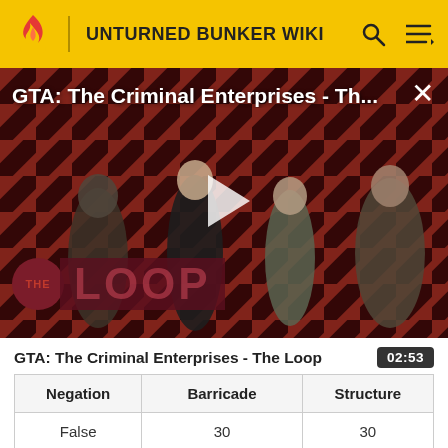UNTURNED BUNKER WIKI
[Figure (screenshot): Video thumbnail for 'GTA: The Criminal Enterprises - Th...' showing game characters on a red diagonal striped background with 'THE LOOP' logo overlay and a play button in the center. A close (X) button appears in the top right.]
GTA: The Criminal Enterprises - The Loop	02:53
| Negation | Barricade | Structure |
| --- | --- | --- |
| False | 30 | 30 |
| Vehicle | Pennentan... | Objec... |